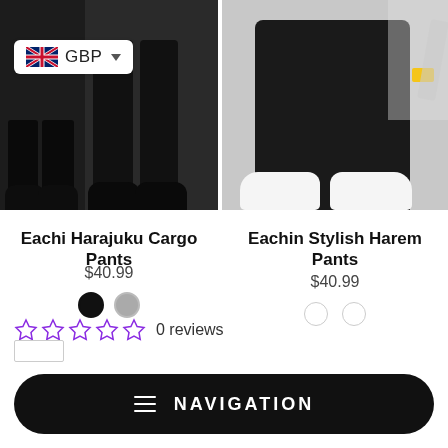[Figure (photo): Left product photo: legs in black cargo pants with black boots/shoes, two-panel image]
[Figure (screenshot): Currency selector badge showing UK flag and GBP with dropdown arrow]
Eachi Harajuku Cargo Pants
$40.99
[Figure (other): Two color swatches: black circle and gray circle]
[Figure (photo): Right product photo: legs in black harem pants with white sneakers on gray background]
Eachin Stylish Harem Pants
$40.99
[Figure (other): Two empty/outline color swatches]
0 reviews
NAVIGATION